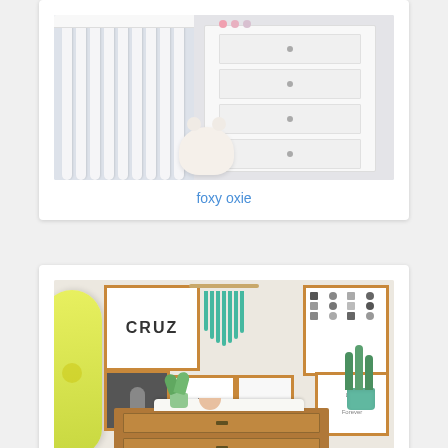[Figure (photo): Nursery room photo showing white crib slats on the left and a white dresser with drawers on the right, with a stuffed animal on the floor]
foxy oxie
[Figure (photo): Boho nursery room photo showing a gallery wall with wooden frames including a 'CRUZ' print and other art prints, a teal macrame wall hanging, a yellow surfboard leaning on the left, and a wooden dresser with changing pad and plants]